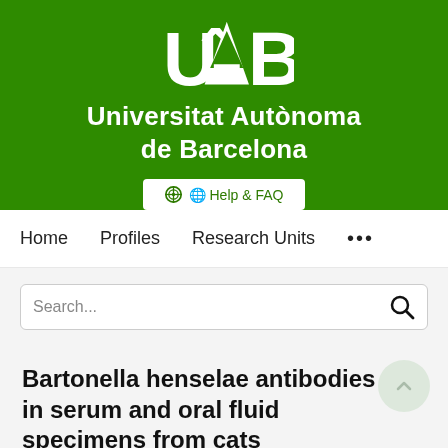[Figure (logo): UAB (Universitat Autònoma de Barcelona) logo on green background with white UAB letters and university name]
Help & FAQ
Home   Profiles   Research Units   ...
Search...
Bartonella henselae antibodies in serum and oral fluid specimens from cats